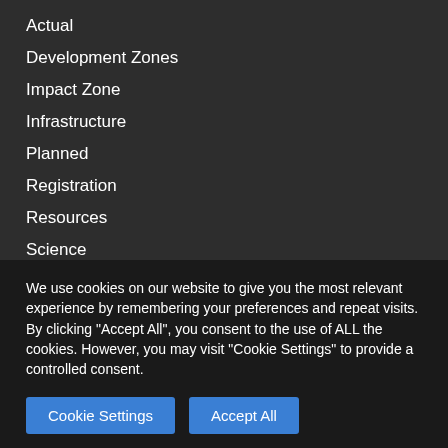Actual
Development Zones
Impact Zone
Infrastructure
Planned
Registration
Resources
Science
Contact Us
We use cookies on our website to give you the most relevant experience by remembering your preferences and repeat visits. By clicking "Accept All", you consent to the use of ALL the cookies. However, you may visit "Cookie Settings" to provide a controlled consent.
Cookie Settings   Accept All